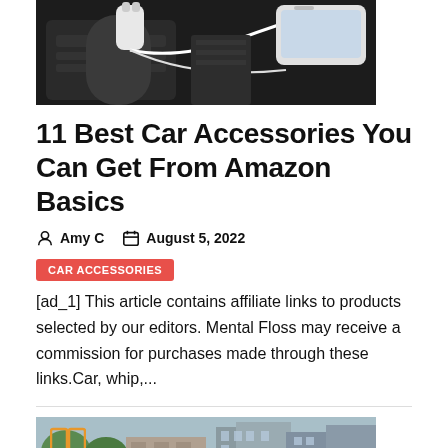[Figure (photo): Car USB charger plugged into car outlet with a white phone and cable on dark background]
11 Best Car Accessories You Can Get From Amazon Basics
Amy C  August 5, 2022
CAR ACCESSORIES
[ad_1] This article contains affiliate links to products selected by our editors. Mental Floss may receive a commission for purchases made through these links.Car, whip,...
[Figure (photo): Street view of apartment buildings with trees, with an orange book icon overlay]